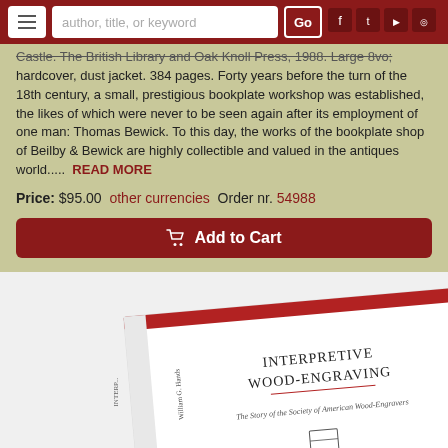author, title, or keyword [search bar] Go [social icons]
Castle. The British Library and Oak Knoll Press, 1988. Large 8vo; hardcover, dust jacket. 384 pages. Forty years before the turn of the 18th century, a small, prestigious bookplate workshop was established, the likes of which were never to be seen again after its employment of one man: Thomas Bewick. To this day, the works of the bookplate shop of Beilby & Bewick are highly collectible and valued in the antiques world..... READ MORE
Price: $95.00  other currencies  Order nr. 54988
Add to Cart
[Figure (photo): A white book with red spine accent showing the title 'Interpretive Wood-Engraving: The Story of the Society of American Wood-Engravers' propped at an angle on a white surface.]